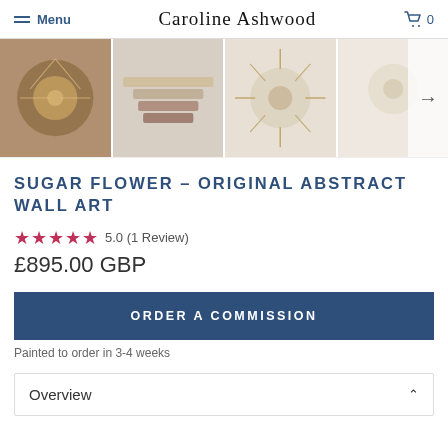Menu | Caroline Ashwood | 0
[Figure (photo): Four product thumbnail images of the Sugar Flower abstract wall art painting, with a right arrow navigation button]
SUGAR FLOWER - ORIGINAL ABSTRACT WALL ART
★★★★★ 5.0 (1 Review)
£895.00 GBP
ORDER A COMMISSION
Painted to order in 3-4 weeks
Overview